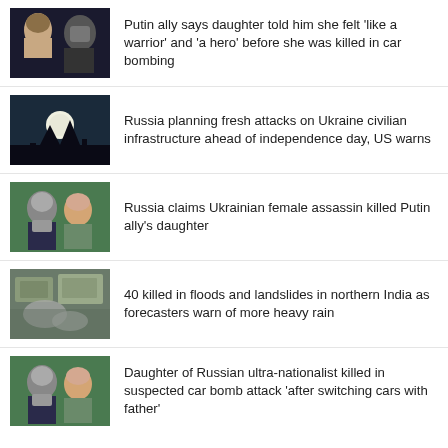Putin ally says daughter told him she felt 'like a warrior' and 'a hero' before she was killed in car bombing
Russia planning fresh attacks on Ukraine civilian infrastructure ahead of independence day, US warns
Russia claims Ukrainian female assassin killed Putin ally’s daughter
40 killed in floods and landslides in northern India as forecasters warn of more heavy rain
Daughter of Russian ultra-nationalist killed in suspected car bomb attack ‘after switching cars with father’